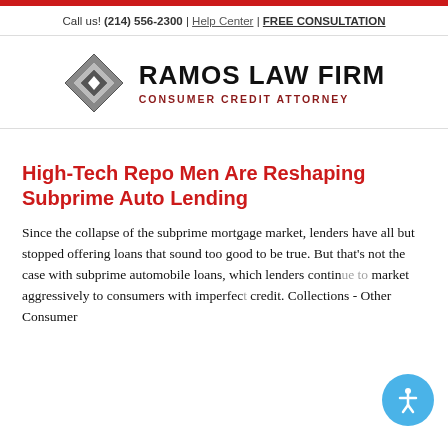Call us! (214) 556-2300 | Help Center | FREE CONSULTATION
[Figure (logo): Ramos Law Firm logo with diamond/shield graphic and text 'RAMOS LAW FIRM CONSUMER CREDIT ATTORNEY']
High-Tech Repo Men Are Reshaping Subprime Auto Lending
Since the collapse of the subprime mortgage market, lenders have all but stopped offering loans that sound too good to be true. But that's not the case with subprime automobile loans, which lenders continue to market aggressively to consumers with imperfect credit. Collections - Other Consumer